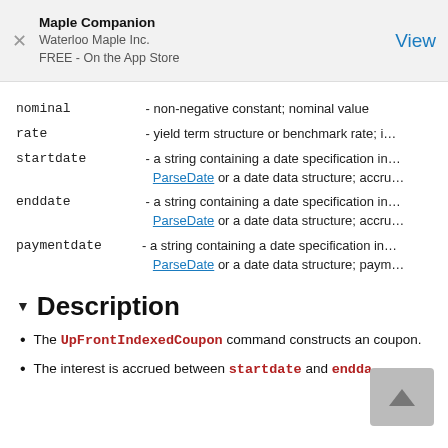Maple Companion
Waterloo Maple Inc.
FREE - On the App Store
View
nominal - non-negative constant; nominal value
rate - yield term structure or benchmark rate; i...
startdate - a string containing a date specification in... ParseDate or a date data structure; accru...
enddate - a string containing a date specification in... ParseDate or a date data structure; accru...
paymentdate - a string containing a date specification in... ParseDate or a date data structure; paym...
Description
The UpFrontIndexedCoupon command constructs an coupon.
The interest is accrued between startdate and endda...